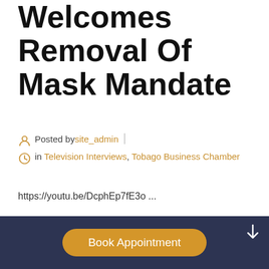Welcomes Removal Of Mask Mandate
Posted by site_admin | in Television Interviews, Tobago Business Chamber
https://youtu.be/DcphEp7fE3o ...
CONTINUE READING ›
Book Appointment